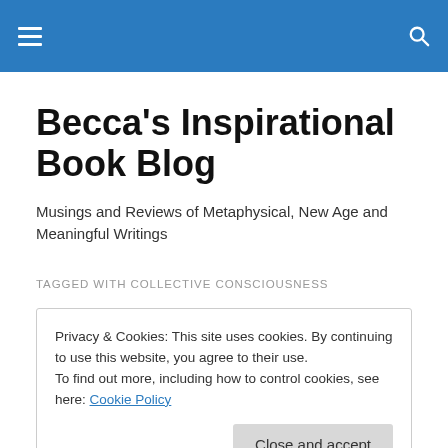Becca's Inspirational Book Blog
Becca's Inspirational Book Blog
Musings and Reviews of Metaphysical, New Age and Meaningful Writings
TAGGED WITH COLLECTIVE CONSCIOUSNESS
Privacy & Cookies: This site uses cookies. By continuing to use this website, you agree to their use.
To find out more, including how to control cookies, see here: Cookie Policy
Close and accept
5 votes